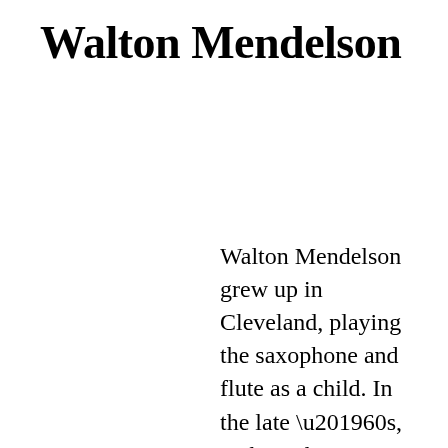Walton Mendelson
Walton Mendelson grew up in Cleveland, playing the saxophone and flute as a child. In the late ’60s, making the requisite pilgrimages to New York and L.A., he immersed himself in the folk, rock, and jazz